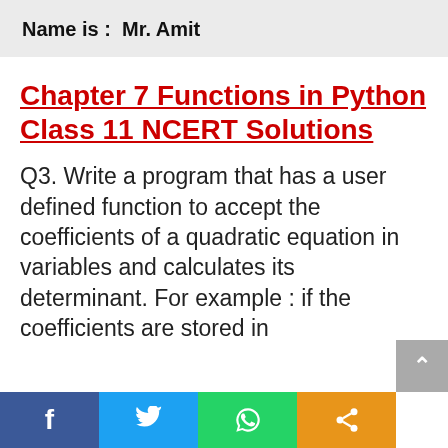Name is :  Mr. Amit
Chapter 7 Functions in Python Class 11 NCERT Solutions
Q3. Write a program that has a user defined function to accept the coefficients of a quadratic equation in variables and calculates its determinant. For example : if the coefficients are stored in